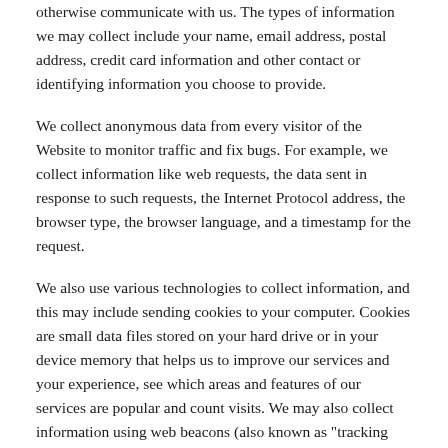otherwise communicate with us. The types of information we may collect include your name, email address, postal address, credit card information and other contact or identifying information you choose to provide.
We collect anonymous data from every visitor of the Website to monitor traffic and fix bugs. For example, we collect information like web requests, the data sent in response to such requests, the Internet Protocol address, the browser type, the browser language, and a timestamp for the request.
We also use various technologies to collect information, and this may include sending cookies to your computer. Cookies are small data files stored on your hard drive or in your device memory that helps us to improve our services and your experience, see which areas and features of our services are popular and count visits. We may also collect information using web beacons (also known as "tracking